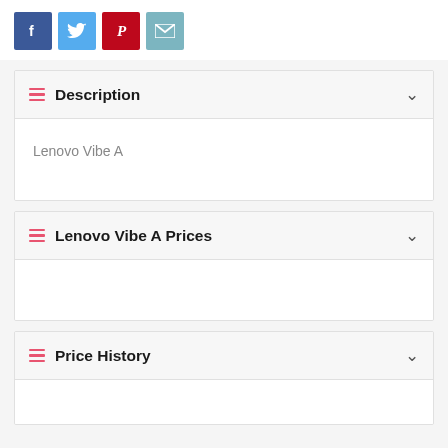[Figure (other): Social sharing buttons row: Facebook (blue), Twitter (light blue), Pinterest (red), Email (teal)]
Description
Lenovo Vibe A
Lenovo Vibe A Prices
Price History